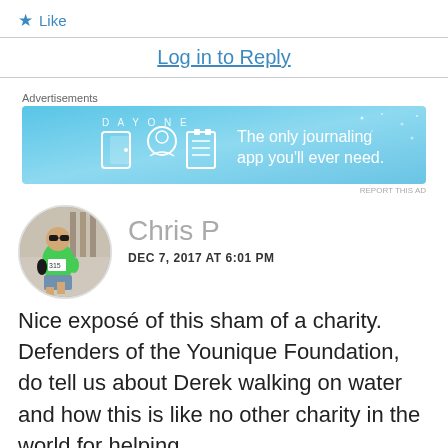★ Like
Log in to Reply
Advertisements
[Figure (illustration): Advertisement banner for Day One journaling app with blue gradient background, icons of a door/person/notepad, and text 'The only journaling app you'll ever need.']
REPORT THIS AD
[Figure (photo): Circular avatar photo of Chris P, a man in a green running shirt and shorts with sunglasses, running in a race.]
Chris P
DEC 7, 2017 AT 6:01 PM
Nice exposé of this sham of a charity. Defenders of the Younique Foundation, do tell us about Derek walking on water and how this is like no other charity in the world for helping